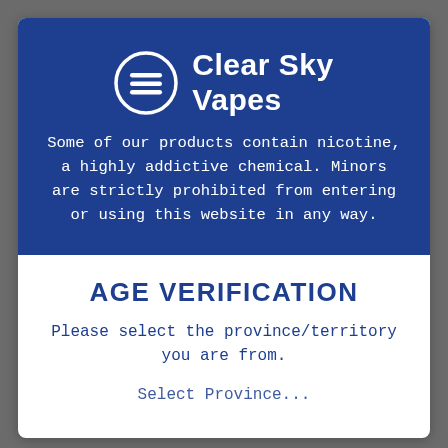[Figure (logo): Clear Sky Vapes logo: circle with stylized 'S' or equals-like symbol inside, white on blue background, with text 'Clear Sky Vapes' to the right]
Some of our products contain nicotine, a highly addictive chemical. Minors are strictly prohibited from entering or using this website in any way.
AGE VERIFICATION
Please select the province/territory you are from.
Select Province...